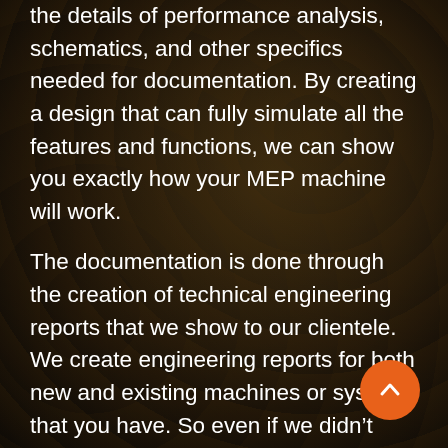the details of performance analysis, schematics, and other specifics needed for documentation. By creating a design that can fully simulate all the features and functions, we can show you exactly how your MEP machine will work.
The documentation is done through the creation of technical engineering reports that we show to our clientele. We create engineering reports for both new and existing machines or systems that you have. So even if we didn't create an MEP design for you before, we can still use our expertise to create technical reports that you need. Be it for residential or commercial sectors, we can take all of those tasks. We also serve customers from various states like Chicago and many more. All you have to do is let us handle this